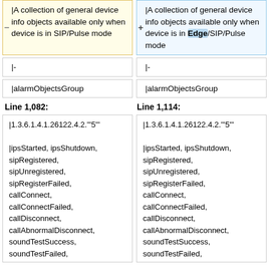| Left (old) | Right (new) |
| --- | --- |
| |A collection of general device info objects available only when device is in SIP/Pulse mode | |A collection of general device info objects available only when device is in Edge/SIP/Pulse mode |
| |- | |- |
| |alarmObjectsGroup | |alarmObjectsGroup |
Line 1,082:
Line 1,114:
| |1.3.6.1.4.1.26122.4.2.'"5'" | |1.3.6.1.4.1.26122.4.2.'"5'" |
| |ipsStarted, ipsShutdown, sipRegistered, sipUnregistered, sipRegisterFailed, callConnect, callConnectFailed, callDisconnect, callAbnormalDisconnect, soundTestSuccess, soundTestFailed, | |ipsStarted, ipsShutdown, sipRegistered, sipUnregistered, sipRegisterFailed, callConnect, callConnectFailed, callDisconnect, callAbnormalDisconnect, soundTestSuccess, soundTestFailed, |